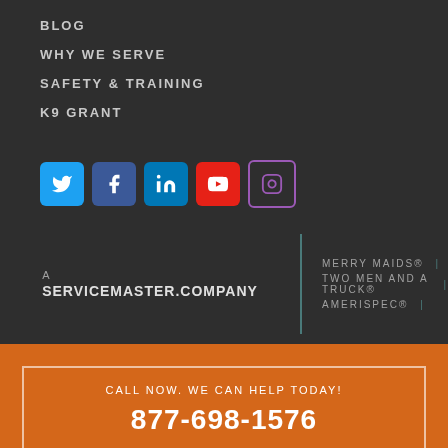BLOG
WHY WE SERVE
SAFETY & TRAINING
K9 GRANT
[Figure (infographic): Social media icons row: Twitter (blue), Facebook (dark blue), LinkedIn (blue), YouTube (red), Instagram (purple outline)]
A SERVICEMASTER.COMPANY
MERRY MAIDS® | TWO MEN AND A TRUCK® | AMERISPEC®
CALL NOW. WE CAN HELP TODAY!
877-698-1576